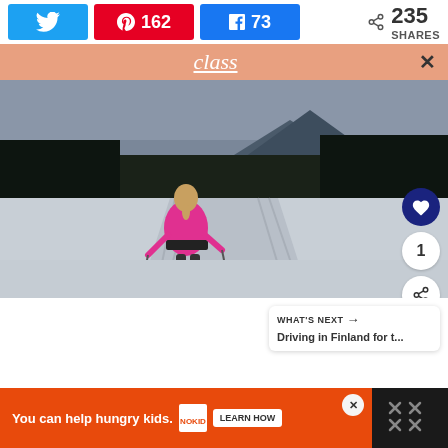[Figure (screenshot): Social share bar with Twitter button (no count), Pinterest button with count 162, Facebook button with count 73, and total share count 235 SHARES]
[Figure (screenshot): Salmon/peach colored banner bar with italic underlined text 'class' and an X close button]
[Figure (photo): Cross-country ski trail photo: woman in pink jacket seen from behind on a groomed ski trail, surrounded by snow-covered landscape with pine trees and mountains in background under overcast sky. Heart/like button overlay on right side showing count 1, and a share button.]
[Figure (screenshot): WHAT'S NEXT box: 'Driving in Finland for t...']
[Figure (screenshot): Advertisement bar: orange background, 'You can help hungry kids.' text, No Kid Hungry logo, LEARN HOW button, close X button, and right panel with X marks pattern]